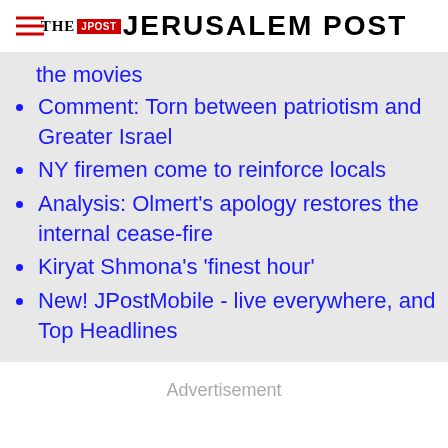THE JERUSALEM POST
the movies
Comment: Torn between patriotism and Greater Israel
NY firemen come to reinforce locals
Analysis: Olmert's apology restores the internal cease-fire
Kiryat Shmona's 'finest hour'
New! JPostMobile - live everywhere, and Top Headlines
Advertisement